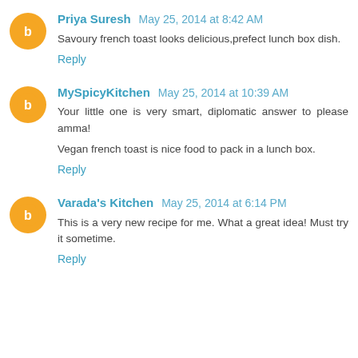Priya Suresh May 25, 2014 at 8:42 AM
Savoury french toast looks delicious,prefect lunch box dish.
Reply
MySpicyKitchen May 25, 2014 at 10:39 AM
Your little one is very smart, diplomatic answer to please amma!
Vegan french toast is nice food to pack in a lunch box.
Reply
Varada's Kitchen May 25, 2014 at 6:14 PM
This is a very new recipe for me. What a great idea! Must try it sometime.
Reply